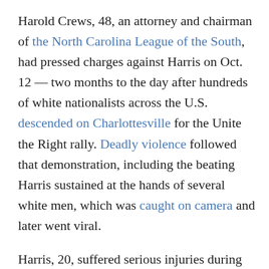Harold Crews, 48, an attorney and chairman of the North Carolina League of the South, had pressed charges against Harris on Oct. 12 — two months to the day after hundreds of white nationalists across the U.S. descended on Charlottesville for the Unite the Right rally. Deadly violence followed that demonstration, including the beating Harris sustained at the hands of several white men, which was caught on camera and later went viral.
Harris, 20, suffered serious injuries during the attack, saying later that because of the beating, he had "eight staples in my head, a broken wrist and a chipped tooth."
But Crews argued that it was he who had been unlawfully wounded by Harris. The original charge, a felony punishable by up to five years in prison, was later amended to